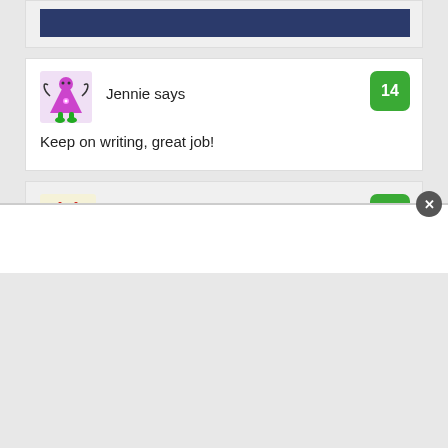[Figure (illustration): Dark navy blue banner bar at top of page]
Jennie says
14
Keep on writing, great job!
The Washington Post says
15